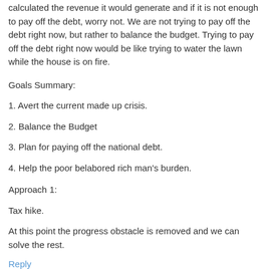calculated the revenue it would generate and if it was not enough to pay off the debt, worry not. We are not trying to pay off the debt right now, but rather to balance the budget. Trying to pay off the debt right now would be like trying to water the lawn while the house is on fire.
Goals Summary:
1. Avert the current made up crisis.
2. Balance the Budget
3. Plan for paying off the national debt.
4. Help the poor belabored rich man's burden.
Approach 1:
Tax hike.
At this point the progress obstacle is removed and we can solve the rest.
Reply